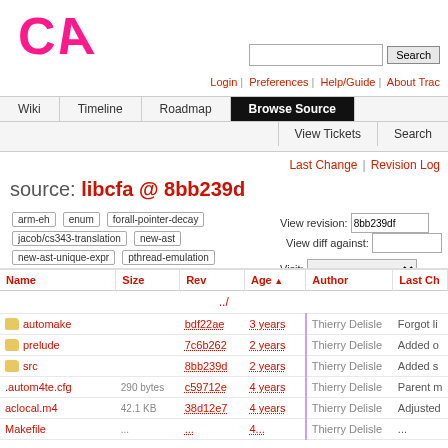[Figure (logo): CA logo in pink/magenta]
Search | Login | Preferences | Help/Guide | About Trac
Wiki | Timeline | Roadmap | Browse Source | View Tickets | Search
Last Change | Revision Log
source: libcfa @ 8bb239d
arm-eh  enum  forall-pointer-decay  jacob/cs343-translation  new-ast  new-ast-unique-expr  pthread-emulation
View revision: 8bb239df  View diff against:  Visit:
| Name | Size | Rev | Age | Author | Last Ch |
| --- | --- | --- | --- | --- | --- |
| ../ |  |  |  |  |  |
| automake |  | bdf22ae | 3 years | Thierry Delisle | Forgot li |
| prelude |  | 7c6b262 | 2 years | Thierry Delisle | Added o |
| src |  | 8bb239d | 2 years | Thierry Delisle | Added s |
| .autom4te.cfg | 290 bytes | c59712e | 4 years | Thierry Delisle | Parent m |
| aclocal.m4 | 42.1 KB | 38d12e7 | 4 years | Thierry Delisle | Adjusted |
| Makefile | ... | ... | 4... | Thierry Delisle | ... |